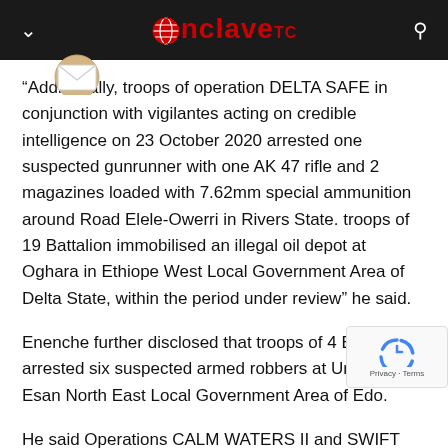Conclave TC
“Additionally, troops of operation DELTA SAFE in conjunction with vigilantes acting on credible intelligence on 23 October 2020 arrested one suspected gunrunner with one AK 47 rifle and 2 magazines loaded with 7.62mm special ammunition around Road Elele-Owerri in Rivers State. troops of 19 Battalion immobilised an illegal oil depot at Oghara in Ethiope West Local Government Area of Delta State, within the period under review” he said.
Enenche further disclosed that troops of 4 Brigade arrested six suspected armed robbers at Uromi in Esan North East Local Government Area of Edo.
He said Operations CALM WATERS II and SWIFT